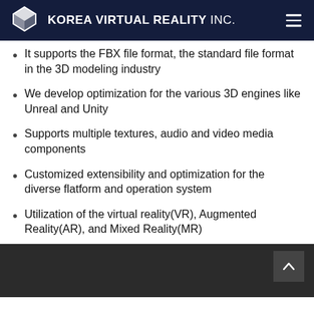KOREA VIRTUAL REALITY INC.
It supports the FBX file format, the standard file format in the 3D modeling industry
We develop optimization for the various 3D engines like Unreal and Unity
Supports multiple textures, audio and video media components
Customized extensibility and optimization for the diverse flatform and operation system
Utilization of the virtual reality(VR), Augmented Reality(AR), and Mixed Reality(MR)
[Figure (screenshot): Dark footer bar with scroll-to-top button showing an upward chevron arrow on the right side]